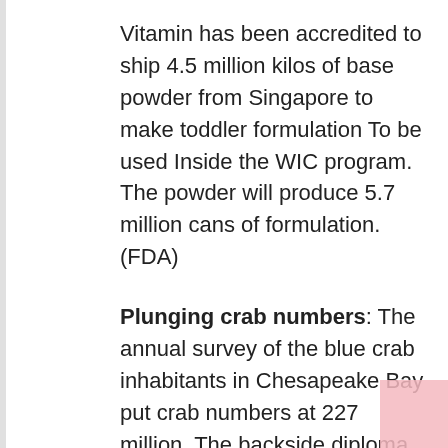Vitamin has been accredited to ship 4.5 million kilos of base powder from Singapore to make toddler formulation To be used Inside the WIC program. The powder will produce 5.7 million cans of formulation. (FDA)
Plunging crab numbers: The annual survey of the blue crab inhabitants in Chesapeake Bay put crab numbers at 227 million, The backside diploma in three many yrs of surveys. (Inside Local climate Information)
A lot more PFAS hazard: A gaggle of chemical comkilos Current in consuming water, cosmetics, and meals packaging pose hazard to far more People than beforehand thought, said the EPA, which issued well being